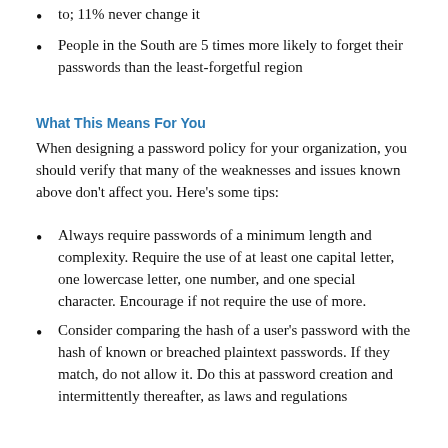to; 11% never change it
People in the South are 5 times more likely to forget their passwords than the least-forgetful region
What This Means For You
When designing a password policy for your organization, you should verify that many of the weaknesses and issues known above don't affect you. Here's some tips:
Always require passwords of a minimum length and complexity. Require the use of at least one capital letter, one lowercase letter, one number, and one special character. Encourage if not require the use of more.
Consider comparing the hash of a user's password with the hash of known or breached plaintext passwords. If they match, do not allow it. Do this at password creation and intermittently thereafter, as laws and regulations